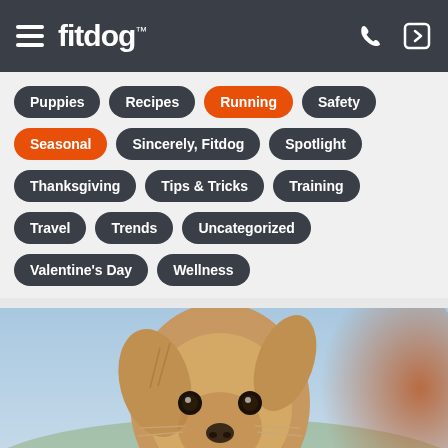fitdog™
Puppies
Recipes
Running
Safety
Seasonal
Sincerely, Fitdog
Spotlight
Thanksgiving
Tips & Tricks
Training
Travel
Trends
Uncategorized
Valentine's Day
Wellness
[Figure (photo): Close-up photo of a small golden-brown puppy with floppy ears running toward the camera, wearing a black collar, against a blurred outdoor background]